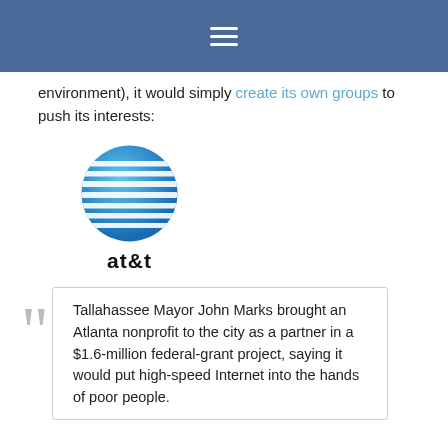☰
environment), it would simply create its own groups to push its interests:
[Figure (logo): AT&T logo — blue globe with white horizontal stripes, and 'at&t' text below in black]
Tallahassee Mayor John Marks brought an Atlanta nonprofit to the city as a partner in a $1.6-million federal-grant project, saying it would put high-speed Internet into the hands of poor people.